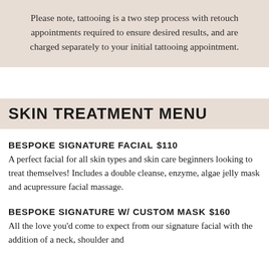Please note, tattooing is a two step process with retouch appointments required to ensure desired results, and are charged separately to your initial tattooing appointment.
SKIN TREATMENT MENU
BESPOKE SIGNATURE FACIAL   $110
A perfect facial for all skin types and skin care beginners looking to treat themselves! Includes a double cleanse, enzyme, algae jelly mask and acupressure facial massage.
BESPOKE SIGNATURE W/ CUSTOM MASK   $160
All the love you'd come to expect from our signature facial with the addition of a neck, shoulder and